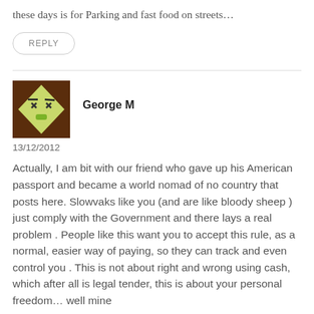these days is for Parking and fast food on streets…
REPLY
George M
[Figure (illustration): Avatar image of a cartoon face (dead-eye emoji style) diamond shape with X eyes and tongue, on a dark brown background]
13/12/2012
Actually, I am bit with our friend who gave up his American passport and became a world nomad of no country that posts here. Slowvaks like you (and are like bloody sheep ) just comply with the Government and there lays a real problem . People like this want you to accept this rule, as a normal, easier way of paying, so they can track and even control you . This is not about right and wrong using cash, which after all is legal tender, this is about your personal freedom… well mine